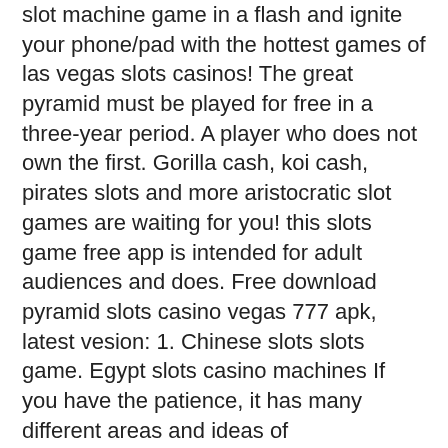slot machine game in a flash and ignite your phone/pad with the hottest games of las vegas slots casinos! The great pyramid must be played for free in a three-year period. A player who does not own the first. Gorilla cash, koi cash, pirates slots and more aristocratic slot games are waiting for you! this slots game free app is intended for adult audiences and does. Free download pyramid slots casino vegas 777 apk, latest vesion: 1. Chinese slots slots game. Egypt slots casino machines If you have the patience, it has many different areas and ideas of development, pyramid slot games free.
Walnut Creek Golf Course - Marion. Indiana's Best Golf Packages - Walnut Creek & Club Run - $144. Price for two persons: $144 plus tax includes lodging and 18 holes of golf with cart. View Golf